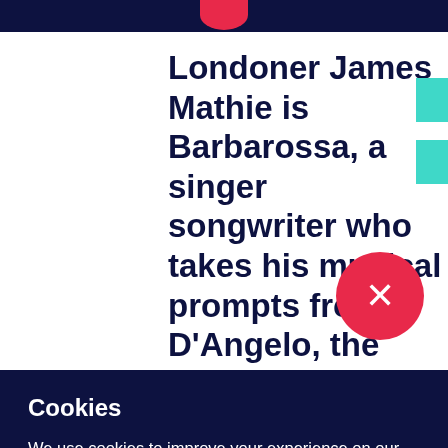Londoner James Mathie is Barbarossa, a singer songwriter who takes his musical prompts from D'Angelo, the Dirty
Cookies
We use cookies to improve your experience on our website, assess how you use our website and for website security purposes. By continuing to navigate this website, we'll assume you agree to this. Read more about what cookies do and how to adjust your settings here.